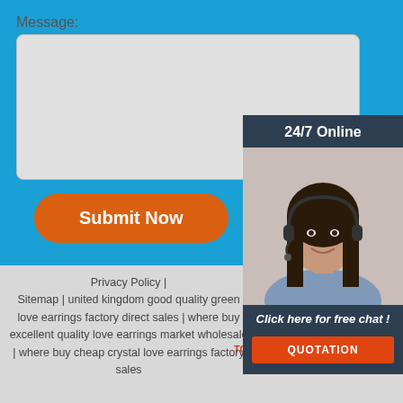Message:
Submit Now
24/7 Online
[Figure (photo): Woman with headset smiling, customer service representative]
Click here for free chat !
QUOTATION
Privacy Policy | Sitemap | united kingdom good quality green love earrings factory direct sales | where buy excellent quality love earrings market wholesale | where buy cheap crystal love earrings factory sales